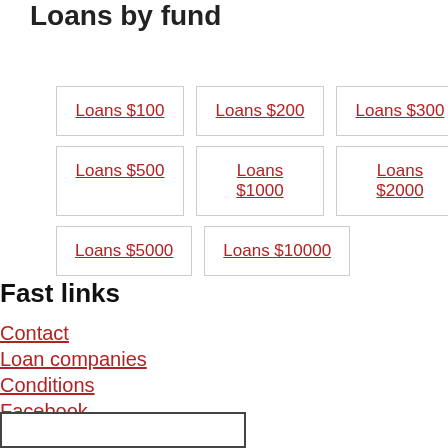Loans by fund
Loans $100
Loans $200
Loans $300
Loans $500
Loans $1000
Loans $2000
Loans $5000
Loans $10000
Fast links
Contact
Loan companies
Conditions
Facebook
Articles